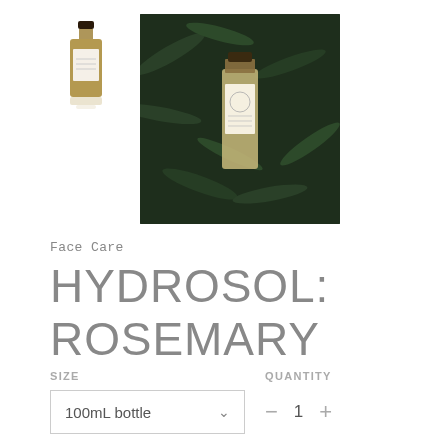[Figure (photo): Small amber glass bottle with white label on white background]
[Figure (photo): Glass bottle lying among green rosemary herbs, dark moody photo]
Face Care
HYDROSOL: ROSEMARY
SIZE
QUANTITY
100mL bottle
1